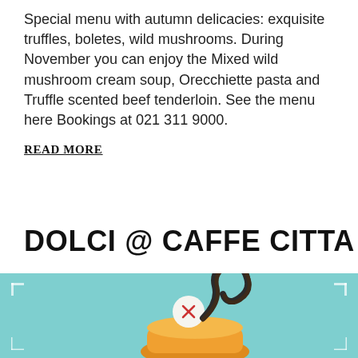Special menu with autumn delicacies: exquisite truffles, boletes, wild mushrooms. During November you can enjoy the Mixed wild mushroom cream soup, Orecchiette pasta and Truffle scented beef tenderloin. See the menu here Bookings at 021 311 9000.
READ MORE
DOLCI @ CAFFE CITTA
[Figure (photo): Teal/turquoise background with a decorative dessert in the center — appears to be a pastry with a white sphere and dark chocolate curl on top, orange/yellow base. White corner bracket decorations in all four corners.]